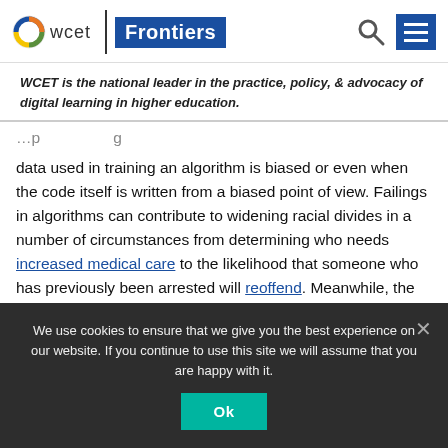wcet | Frontiers
WCET is the national leader in the practice, policy, & advocacy of digital learning in higher education.
data used in training an algorithm is biased or even when the code itself is written from a biased point of view. Failings in algorithms can contribute to widening racial divides in a number of circumstances from determining who needs increased medical care to the likelihood that someone who has previously been arrested will reoffend. Meanwhile, the bias in facial recognition, far from providing the convenience and ease of unlocking a
We use cookies to ensure that we give you the best experience on our website. If you continue to use this site we will assume that you are happy with it.